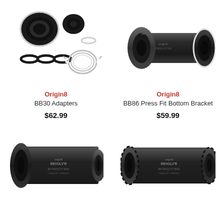[Figure (photo): Origin8 BB30 Adapters - multiple black and silver rings, seals and circlip components on white background]
Origin8
BB30 Adapters
$62.99
[Figure (photo): Origin8 BB86 Press Fit Bottom Bracket - black cylindrical bottom bracket unit on white background]
Origin8
BB86 Press Fit Bottom Bracket
$59.99
[Figure (photo): Origin8 Revolver bottom bracket - black cylindrical unit, left side view, partial image cut off at bottom]
[Figure (photo): Origin8 Revolver bottom bracket - black cylindrical unit with serrated end caps, partial image cut off at bottom]